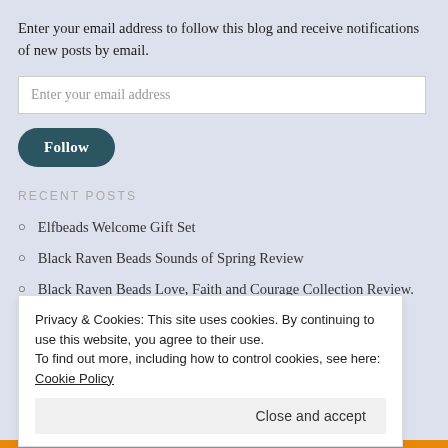Enter your email address to follow this blog and receive notifications of new posts by email.
Enter your email address
Follow
RECENT POSTS
Elfbeads Welcome Gift Set
Black Raven Beads Sounds of Spring Review
Black Raven Beads Love, Faith and Courage Collection Review.
Privacy & Cookies: This site uses cookies. By continuing to use this website, you agree to their use.
To find out more, including how to control cookies, see here: Cookie Policy
Close and accept